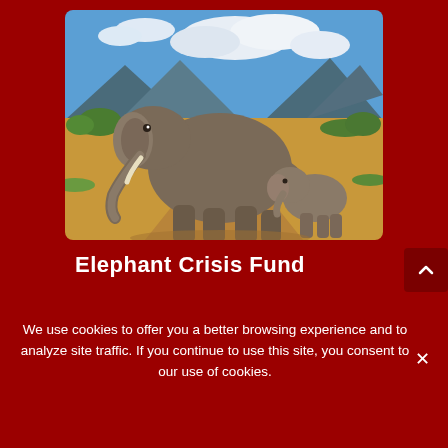[Figure (photo): Photograph of an adult African elephant and a baby elephant walking on a dirt path in a savanna landscape, with green shrubs, mountains, and a blue sky with white clouds in the background.]
Elephant Crisis Fund
We use cookies to offer you a better browsing experience and to analyze site traffic. If you continue to use this site, you consent to our use of cookies.